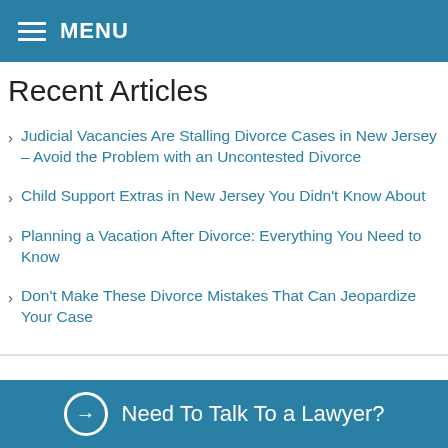MENU
Recent Articles
Judicial Vacancies Are Stalling Divorce Cases in New Jersey – Avoid the Problem with an Uncontested Divorce
Child Support Extras in New Jersey You Didn't Know About
Planning a Vacation After Divorce: Everything You Need to Know
Don't Make These Divorce Mistakes That Can Jeopardize Your Case
Need To Talk To a Lawyer?